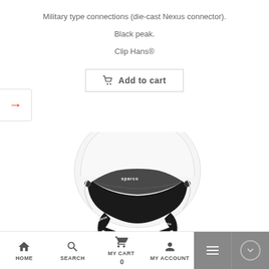Military type connections (die-cast Nexus connector).
Black peak.
Clip Hans®
Add to cart
[Figure (photo): White Sparco open-face racing helmet with black visor and black interior padding, shown from front-left angle on white background.]
HOME  SEARCH  MY CART 0  MY ACCOUNT  ☰  ▼